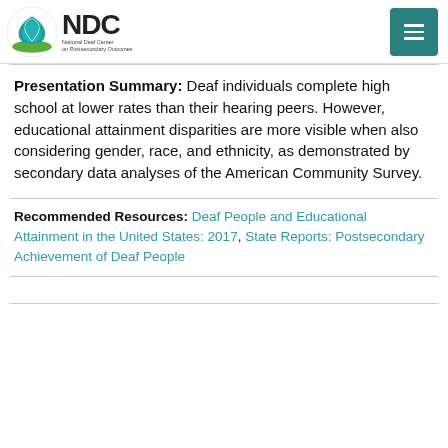NDC National Deaf Center on Postsecondary Outcomes
Presentation Summary: Deaf individuals complete high school at lower rates than their hearing peers. However, educational attainment disparities are more visible when also considering gender, race, and ethnicity, as demonstrated by secondary data analyses of the American Community Survey.
Recommended Resources: Deaf People and Educational Attainment in the United States: 2017, State Reports: Postsecondary Achievement of Deaf People